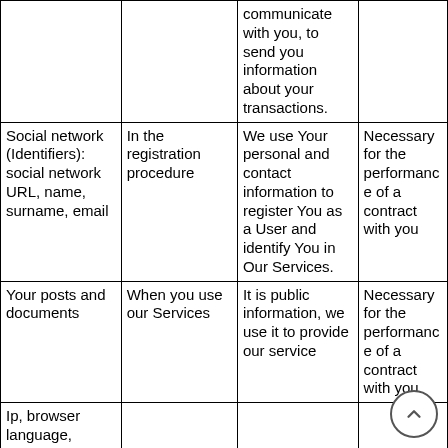|  |  |  |  |
| --- | --- | --- | --- |
|  |  | communicate with you, to send you information about your transactions. |  |
| Social network (Identifiers): social network URL, name, surname, email | In the registration procedure | We use Your personal and contact information to register You as a User and identify You in Our Services. | Necessary for the performance of a contract with you |
| Your posts and documents | When you use our Services | It is public information, we use it to provide our service | Necessary for the performance of a contract with you |
| Ip, browser language, |  |  |  |